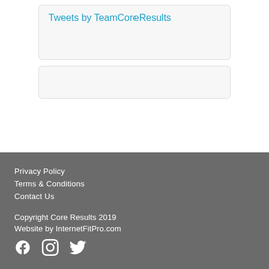Tweets by TeamCoreResults
Privacy Policy
Terms & Conditions
Contact Us
Copyright Core Results 2019
Website by InternetFitPro.com